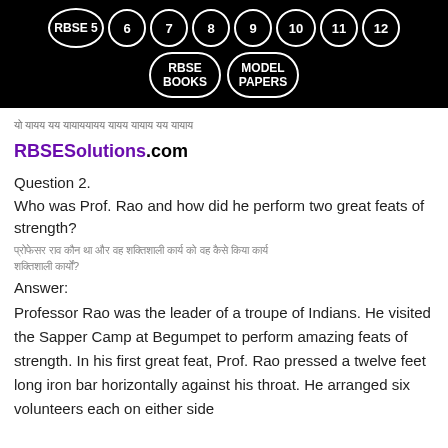RBSE 5  6  7  8  9  10  11  12  RBSE BOOKS  MODEL PAPERS
[Hindi text - cropped line]
RBSESolutions.com
Question 2.
Who was Prof. Rao and how did he perform two great feats of strength?
[Hindi translation of question]
Answer:
Professor Rao was the leader of a troupe of Indians. He visited the Sapper Camp at Begumpet to perform amazing feats of strength. In his first great feat, Prof. Rao pressed a twelve feet long iron bar horizontally against his throat. He arranged six volunteers each on either side